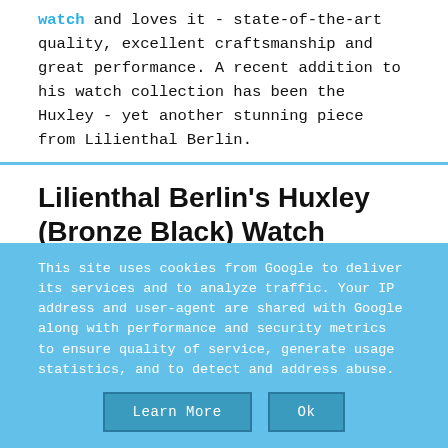watch and loves it - state-of-the-art quality, excellent craftsmanship and great performance. A recent addition to his watch collection has been the Huxley - yet another stunning piece from Lilienthal Berlin.
Lilienthal Berlin's Huxley (Bronze Black) Watch
This site uses cookies from Google to deliver its services and to analyze traffic. Your IP address and user-agent are shared with Google along with performance and security metrics to ensure quality of service, generate usage statistics, and to detect and address abuse.